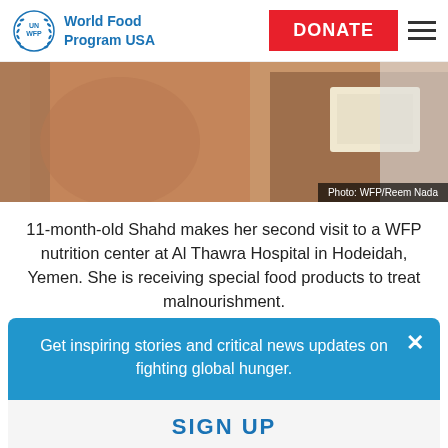[Figure (logo): UN WFP World Food Program USA logo with laurel wreath circle]
World Food Program USA | DONATE
[Figure (photo): 11-month-old Shahd being examined at a WFP nutrition center, child's torso visible with a medical card being held next to them]
Photo: WFP/Reem Nada
11-month-old Shahd makes her second visit to a WFP nutrition center at Al Thawra Hospital in Hodeidah, Yemen. She is receiving special food products to treat malnourishment.
Get inspiring stories and critical news updates on fighting global hunger.
SIGN UP
children under the age of five, like Shahd, lack